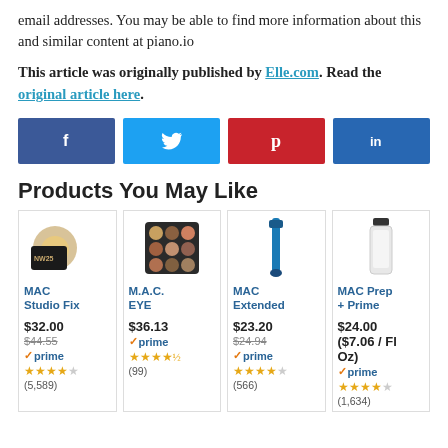email addresses. You may be able to find more information about this and similar content at piano.io
This article was originally published by Elle.com. Read the original article here.
[Figure (infographic): Four social media share buttons: Facebook (blue), Twitter (light blue), Pinterest (red), LinkedIn (dark blue)]
Products You May Like
| Product 1 | Product 2 | Product 3 | Product 4 |
| --- | --- | --- | --- |
| MAC Studio Fix | M.A.C. EYE | MAC Extended | MAC Prep + Prime |
| $32.00 | $36.13 | $23.20 | $24.00 ($7.06 / Fl Oz) |
| $44.55 (crossed) |  | $24.94 (crossed) |  |
| prime | prime | prime | prime |
| ★★★★☆ (5,589) | ★★★★½ (99) | ★★★★☆ (566) | ★★★★☆ (1,634) |